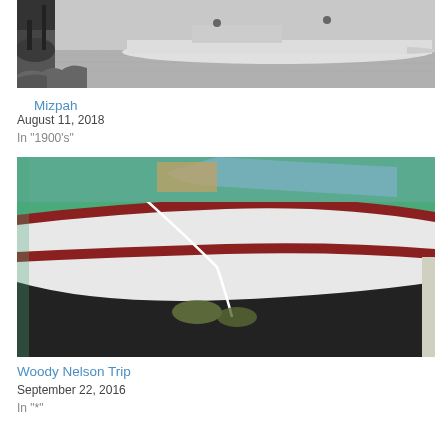[Figure (photo): Black and white photograph of a boat on calm water near a shoreline with rocks and a dock structure]
Mizpah
August 11, 2018
In "1900's"
[Figure (photo): Color photograph of the bow of a white and dark red wooden boat floating in clear green water, with a rope and reflection visible]
Woody Nelson Trip
September 22, 2016
In "*"